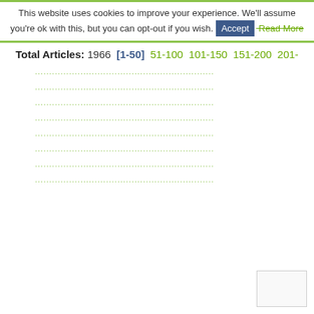This website uses cookies to improve your experience. We'll assume you're ok with this, but you can opt-out if you wish. Accept Read More
Total Articles: 1966 [1-50] 51-100 101-150 151-200 201-
...............................................................
...............................................................
...............................................................
...............................................................
...............................................................
...............................................................
...............................................................
...............................................................